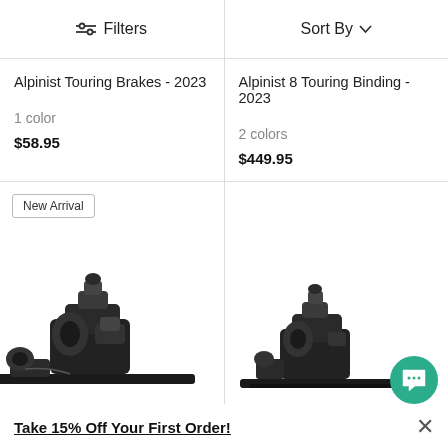⇄ Filters   Sort By ∨
Alpinist Touring Brakes - 2023
1 color
$58.95
Alpinist 8 Touring Binding - 2023
2 colors
$449.95
[Figure (photo): New Arrival badge and ski touring binding product photo - Alpinist Touring Brakes, black binding on ski rail, side angle view]
[Figure (photo): Ski touring binding product photo - Alpinist 8 Touring Binding, black binding on long ski rail, side angle view]
Take 15% Off Your First Order!
×